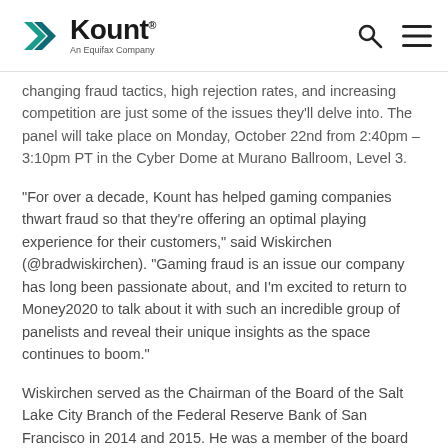Kount — An Equifax Company
changing fraud tactics, high rejection rates, and increasing competition are just some of the issues they'll delve into. The panel will take place on Monday, October 22nd from 2:40pm – 3:10pm PT in the Cyber Dome at Murano Ballroom, Level 3.
“For over a decade, Kount has helped gaming companies thwart fraud so that they’re offering an optimal playing experience for their customers,” said Wiskirchen (@bradwiskirchen). “Gaming fraud is an issue our company has long been passionate about, and I’m excited to return to Money2020 to talk about it with such an incredible group of panelists and reveal their unique insights as the space continues to boom.”
Wiskirchen served as the Chairman of the Board of the Salt Lake City Branch of the Federal Reserve Bank of San Francisco in 2014 and 2015. He was a member of the board for three years prior to serving as the Chairman. Today,